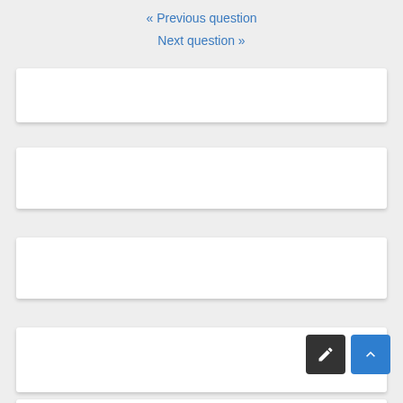« Previous question
Next question »
[Figure (other): Empty white card 1]
[Figure (other): Empty white card 2]
[Figure (other): Empty white card 3]
[Figure (other): Empty white card 4]
[Figure (other): Empty white card 5]
[Figure (other): Edit (pencil) button and scroll-to-top (chevron up) button]